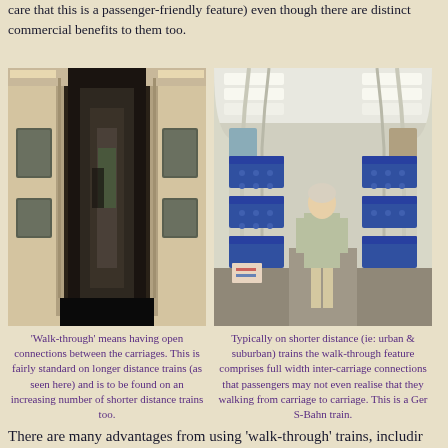care that this is a passenger-friendly feature) even though there are distinct commercial benefits to them too.
[Figure (photo): Interior photo of a walk-through train connection showing open gangway between carriages with beige/cream walls and dark floor]
'Walk-through' means having open connections between the carriages. This is fairly standard on longer distance trains (as seen here) and is to be found on an increasing number of shorter distance trains too.
[Figure (photo): Interior of a German S-Bahn train showing blue seats on both sides and a person standing in the aisle, demonstrating open walk-through carriage design]
Typically on shorter distance (ie: urban & suburban) trains the walk-through feature comprises full width inter-carriage connections that passengers may not even realise that they walking from carriage to carriage. This is a Ger S-Bahn train.
There are many advantages from using 'walk-through' trains, includir